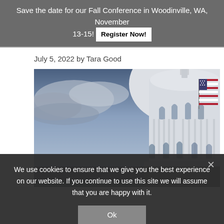Save the date for our Fall Conference in Woodinville, WA, November 13-15! Register Now!
July 5, 2022 by Tara Good
[Figure (photo): Photo of the United States Capitol building dome with an American flag flying, dramatic cloudy sky in background.]
We use cookies to ensure that we give you the best experience on our website. If you continue to use this site we will assume that you are happy with it.